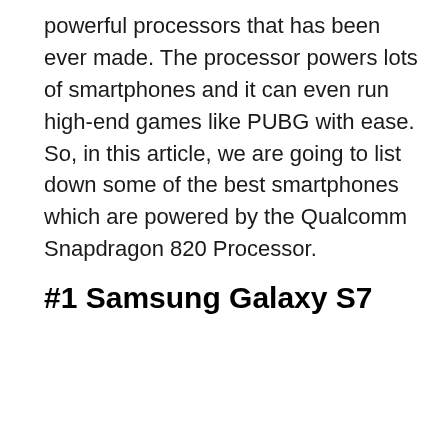powerful processors that has been ever made. The processor powers lots of smartphones and it can even run high-end games like PUBG with ease. So, in this article, we are going to list down some of the best smartphones which are powered by the Qualcomm Snapdragon 820 Processor.
#1 Samsung Galaxy S7